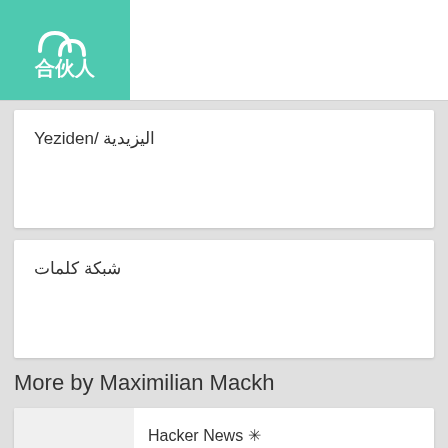[Figure (logo): Teal/green logo box with abstract people icon (arcs) and Chinese characters 合伙人]
اليزيدية /Yeziden
شبكة كلمات
More by Maximilian Mackh
Hacker News ✳
By Maximilian Mackh
Gadgets and Technology News -